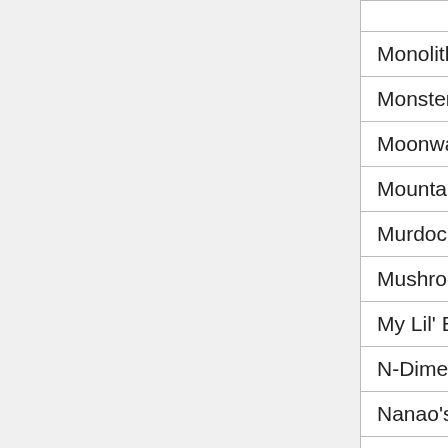| Name | Col2 | Col3 |
| --- | --- | --- |
| Monolith's Mario World Three | N/A | N... |
| Monster Stack 2 | N/A | N... |
| Moonwalk: Bye bye Michael | N/A | N... |
| Mountain Maniac | N/A | N... |
| Murdoc's Operation Rejuvenation | N/A | N... |
| Mushroom Revolution | N/A | N... |
| My Lil' Bastard | N/A | N... |
| N-Dimensions | N/A | N... |
| Nanao's Gift | N/A | N... |
| Narusegawa's Great Out Door | N/A | N... |
| Naruto's Rage | N/A | N... |
| Necronator 2: Dragons | N/A | N... |